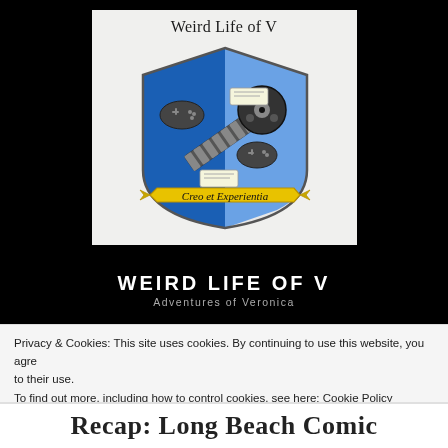[Figure (logo): Weird Life of V blog logo: a heraldic shield in blue and white with a film reel, game controller, and film strips, with a yellow banner reading 'Creo et Experientia'. Above the shield the text 'Weird Life of V' in decorative serif font.]
WEIRD LIFE OF V
Adventures of Veronica
Privacy & Cookies: This site uses cookies. By continuing to use this website, you agree to their use.
To find out more, including how to control cookies, see here: Cookie Policy
Close and accept
Recap: Long Beach Comic